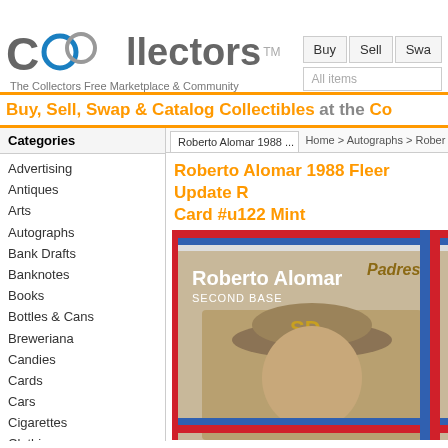[Figure (logo): Collectors logo with interlocking circles (blue and grey), text 'Collectors' in grey with TM mark, and tagline 'The Collectors Free Marketplace & Community']
Buy  Sell  Swa...
All items
Buy, Sell, Swap & Catalog Collectibles at the Co...
Categories
Roberto Alomar 1988 ...
Home > Autographs > Rober...
Roberto Alomar 1988 Fleer Update R... Card #u122 Mint
Advertising
Antiques
Arts
Autographs
Bank Drafts
Banknotes
Books
Bottles & Cans
Breweriana
Candies
Cards
Cars
Cigarettes
Clothing
Coins
Comics
[Figure (photo): Roberto Alomar 1988 Fleer Update baseball card showing Roberto Alomar in San Diego Padres uniform with cap, text 'Roberto Alomar SECOND BASE' and Padres logo]